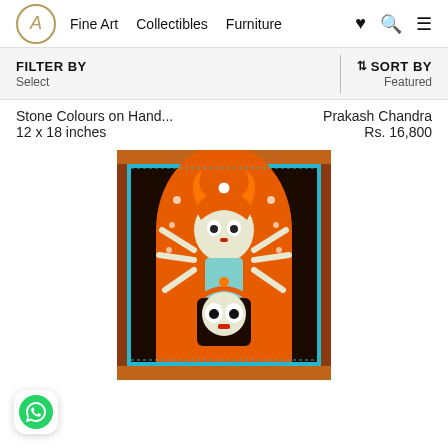A Fine Art Collectibles Furniture
FILTER BY Select
↕SORT BY Featured
Stone Colours on Hand... 12 x 18 inches
Prakash Chandra Rs. 16,800
[Figure (illustration): Traditional Pattachitra painting showing a multi-armed deity figure on an orange background with decorative border in brown and blue.]